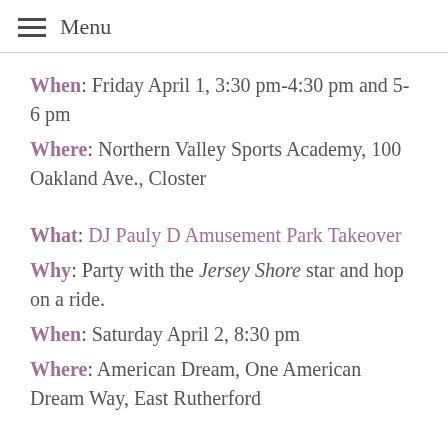Menu
When: Friday April 1, 3:30 pm-4:30 pm and 5-6 pm
Where: Northern Valley Sports Academy, 100 Oakland Ave., Closter
What: DJ Pauly D Amusement Park Takeover
Why: Party with the Jersey Shore star and hop on a ride.
When: Saturday April 2, 8:30 pm
Where: American Dream, One American Dream Way, East Rutherford